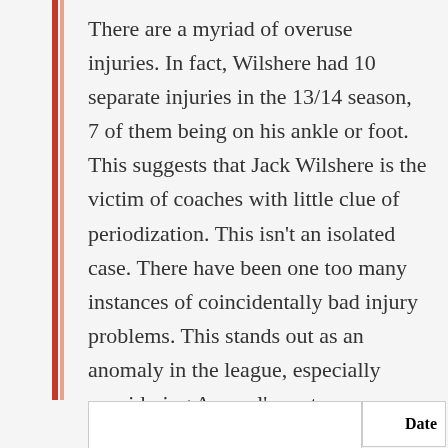There are a myriad of overuse injuries. In fact, Wilshere had 10 separate injuries in the 13/14 season, 7 of them being on his ankle or foot. This suggests that Jack Wilshere is the victim of coaches with little clue of periodization. This isn't an isolated case. There have been one too many instances of coincidentally bad injury problems. This stands out as an anomaly in the league, especially considering Arsenal's vast resources and squad depth.
Date